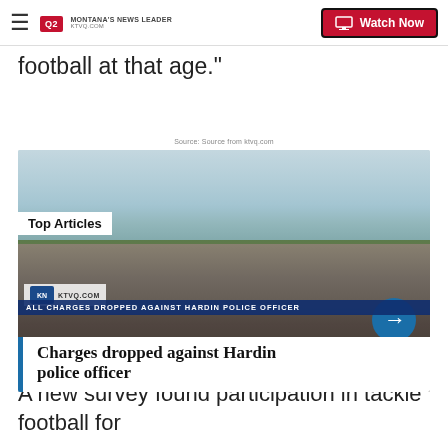Q2 Montana's News Leader | Watch Now
football at that age."
Source: Source from ktvq.com
[Figure (screenshot): News article card showing a street scene with vehicles including a red SUV and white pickup truck towing a flatbed trailer. Overlay text reads 'Top Articles', ticker bar reads 'ALL CHARGES DROPPED AGAINST HARDIN POLICE OFFICER', headline reads 'Charges dropped against Hardin police officer', with a blue circular arrow button on the right.]
A new survey found participation in tackle football for